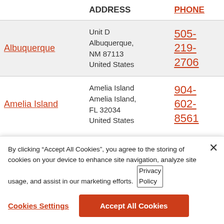|  | ADDRESS | PHONE |
| --- | --- | --- |
| Albuquerque | Unit D
Albuquerque, NM 87113
United States | 505-219-2706 |
| Amelia Island | Amelia Island
Amelia Island, FL 32034
United States | 904-602-8561 |
By clicking "Accept All Cookies", you agree to the storing of cookies on your device to enhance site navigation, analyze site usage, and assist in our marketing efforts. Privacy Policy
Cookies Settings
Accept All Cookies